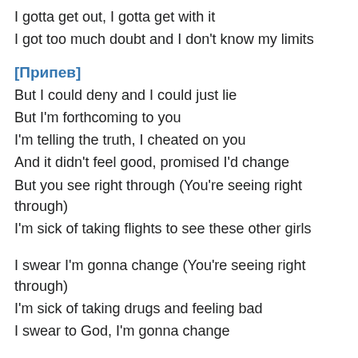I gotta get out, I gotta get with it
I got too much doubt and I don't know my limits
[Припев]
But I could deny and I could just lie
But I'm forthcoming to you
I'm telling the truth, I cheated on you
And it didn't feel good, promised I'd change
But you see right through (You're seeing right through)
I'm sick of taking flights to see these other girls
I swear I'm gonna change (You're seeing right through)
I'm sick of taking drugs and feeling bad
I swear to God, I'm gonna change